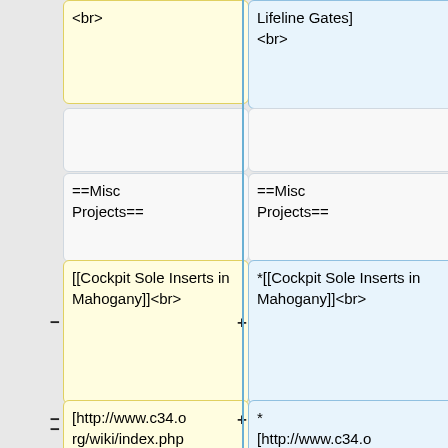<br>
Lifeline Gates]
<br>
==Misc Projects==
==Misc Projects==
[[Cockpit Sole Inserts in Mahogany]]<br>
*[[Cockpit Sole Inserts in Mahogany]]<br>
[http://www.c34.org/wiki/index.php?title=Heavy-Duty_Outboard_Motor_Mount Heavy-duty outboard engine mount] and pushpit stanchion support<br>
* [http://www.c34.org/wiki/index.php?title=Heavy-Duty_Outboard_Motor_Mount Heavy-duty outboard engine mount] and pushpit stanchion support<br>